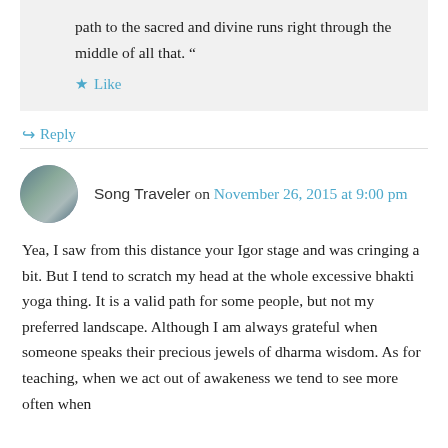path to the sacred and divine runs right through the middle of all that. “
Like
Reply
Song Traveler on November 26, 2015 at 9:00 pm
Yea, I saw from this distance your Igor stage and was cringing a bit. But I tend to scratch my head at the whole excessive bhakti yoga thing. It is a valid path for some people, but not my preferred landscape. Although I am always grateful when someone speaks their precious jewels of dharma wisdom. As for teaching, when we act out of awakeness we tend to see more often when